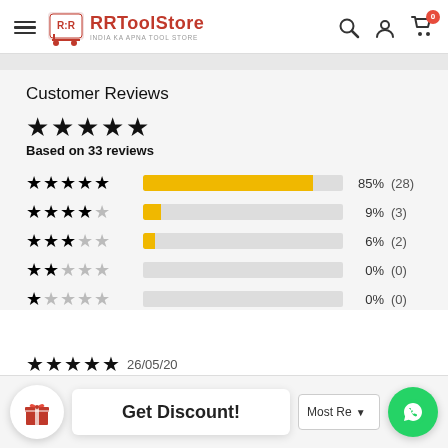RRToolStore — INDIA KA APNA TOOL STORE
Customer Reviews
★★★★★ Based on 33 reviews
[Figure (bar-chart): Customer Review Ratings]
Get Discount!
Most Recent
26/05/20